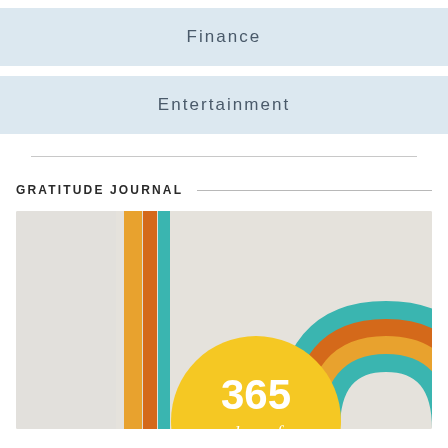Finance
Entertainment
GRATITUDE JOURNAL
[Figure (photo): A gratitude journal product showing a yellow circular cover with '365 days of' text and a retro rainbow design in teal, orange, and brown colors on a light background]